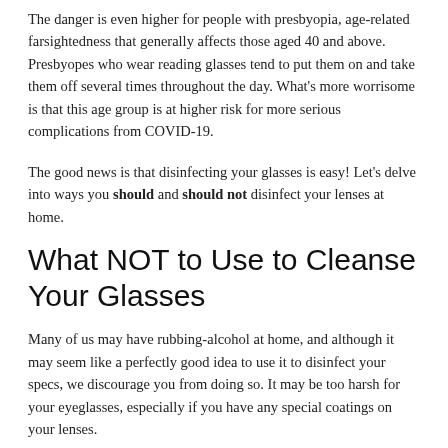The danger is even higher for people with presbyopia, age-related farsightedness that generally affects those aged 40 and above. Presbyopes who wear reading glasses tend to put them on and take them off several times throughout the day. What's more worrisome is that this age group is at higher risk for more serious complications from COVID-19.
The good news is that disinfecting your glasses is easy! Let's delve into ways you should and should not disinfect your lenses at home.
What NOT to Use to Cleanse Your Glasses
Many of us may have rubbing-alcohol at home, and although it may seem like a perfectly good idea to use it to disinfect your specs, we discourage you from doing so. It may be too harsh for your eyeglasses, especially if you have any special coatings on your lenses.
Others also tend to reach for rubbing alcohol to...